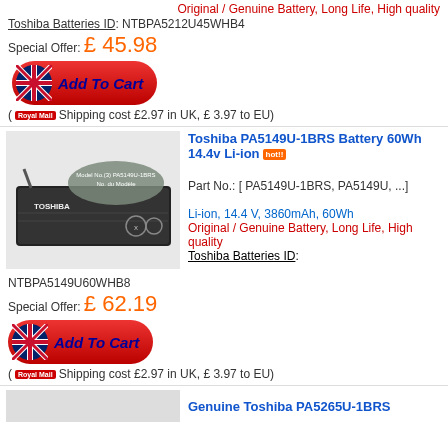Original / Genuine Battery, Long Life, High quality
Toshiba Batteries ID: NTBPA5212U45WHB4
Special Offer: £ 45.98
[Figure (other): Add To Cart button with UK flag]
(Royal Mail Shipping cost £2.97 in UK, £ 3.97 to EU)
[Figure (photo): Toshiba PA5149U-1BRS laptop battery image]
Toshiba PA5149U-1BRS Battery 60Wh 14.4v Li-ion [hot]
Part No.: [ PA5149U-1BRS, PA5149U, ...]
Li-ion, 14.4 V, 3860mAh, 60Wh
Original / Genuine Battery, Long Life, High quality
Toshiba Batteries ID: NTBPA5149U60WHB8
Special Offer: £ 62.19
[Figure (other): Add To Cart button with UK flag]
(Royal Mail Shipping cost £2.97 in UK, £ 3.97 to EU)
Genuine Toshiba PA5265U-1BRS